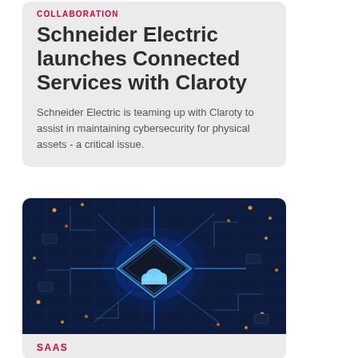COLLABORATION
Schneider Electric launches Connected Services with Claroty
Schneider Electric is teaming up with Claroty to assist in maintaining cybersecurity for physical assets - a critical issue.
[Figure (photo): Dark blue circuit board with glowing diamond-shaped chip in the center featuring a cloud icon, surrounded by orange light dots suggesting electronic components]
SAAS